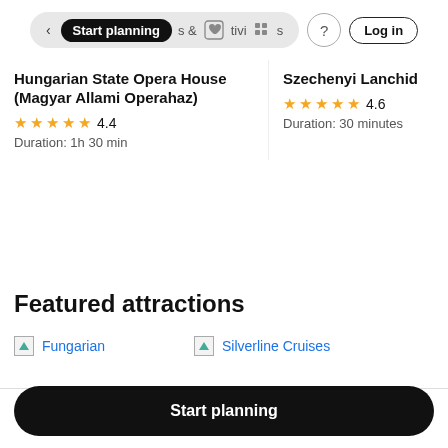Start planning | & activities | ? | Log in
Hungarian State Opera House (Magyar Allami Operahaz)
★★★★½ 4.4
Duration: 1h 30 min
Szechenyi Lanchid
★★★★½ 4.6
Duration: 30 minutes
Featured attractions
[Figure (logo): Fungarian logo/image placeholder with link]
[Figure (logo): Silverline Cruises logo/image placeholder with link]
Start planning